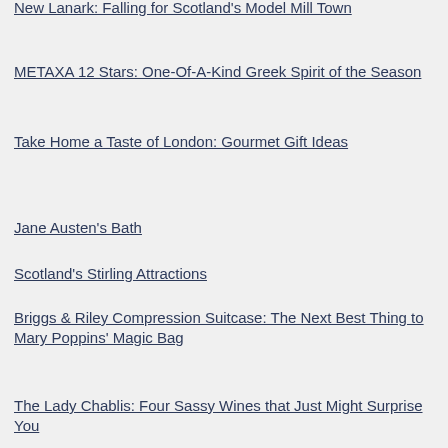New Lanark: Falling for Scotland's Model Mill Town
METAXA 12 Stars: One-Of-A-Kind Greek Spirit of the Season
Take Home a Taste of London: Gourmet Gift Ideas
Jane Austen's Bath
Scotland's Stirling Attractions
Briggs & Riley Compression Suitcase: The Next Best Thing to Mary Poppins' Magic Bag
The Lady Chablis: Four Sassy Wines that Just Might Surprise You